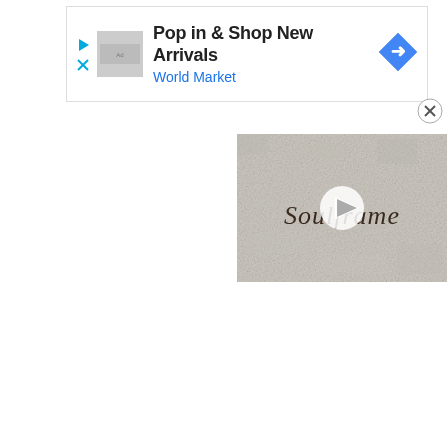[Figure (screenshot): Advertisement banner for World Market: 'Pop in & Shop New Arrivals / World Market' with play icon, X close icon, logo placeholder, and blue diamond arrow icon on right]
[Figure (screenshot): Video thumbnail showing medieval/gothic style text reading 'Soulframe' on a stone-textured background, with a white play button overlay in the center]